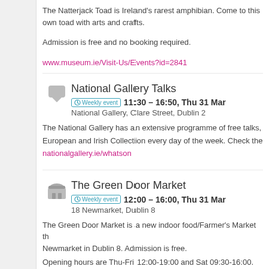The Natterjack Toad is Ireland's rarest amphibian. Come to this own toad with arts and crafts.
Admission is free and no booking required.
www.museum.ie/Visit-Us/Events?id=2841
National Gallery Talks
Weekly event 11:30 – 16:50, Thu 31 Mar
National Gallery, Clare Street, Dublin 2
The National Gallery has an extensive programme of free talks, European and Irish Collection every day of the week. Check the
nationalgallery.ie/whatson
The Green Door Market
Weekly event 12:00 – 16:00, Thu 31 Mar
18 Newmarket, Dublin 8
The Green Door Market is a new indoor food/Farmer's Market th Newmarket in Dublin 8. Admission is free.
Opening hours are Thu-Fri 12:00-19:00 and Sat 09:30-16:00.